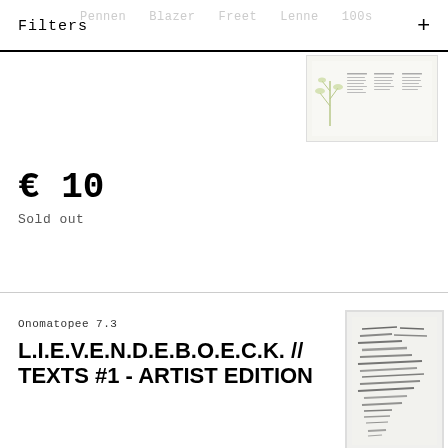Filters
[Figure (photo): Small horizontal artwork showing botanical/plant illustration with text columns on white paper]
€ 10
Sold out
Onomatopee 7.3
L.I.E.V.E.N.D.E.B.O.E.C.K. // TEXTS #1 - ARTIST EDITION
[Figure (photo): Framed artwork with handwritten/stamped text marks on white paper, displayed in white frame]